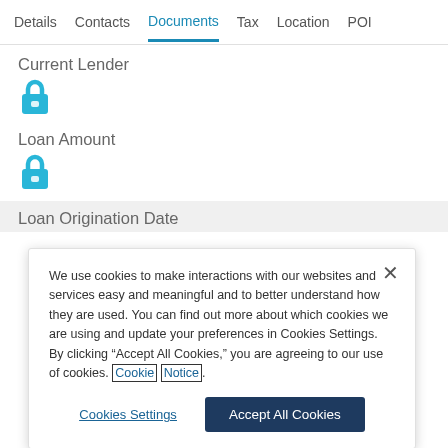Details  Contacts  Documents  Tax  Location  POI
Current Lender
[Figure (illustration): Blue lock icon indicating locked/restricted field]
Loan Amount
[Figure (illustration): Blue lock icon indicating locked/restricted field]
Loan Origination Date
We use cookies to make interactions with our websites and services easy and meaningful and to better understand how they are used. You can find out more about which cookies we are using and update your preferences in Cookies Settings. By clicking “Accept All Cookies,” you are agreeing to our use of cookies. Cookie Notice.
Cookies Settings    Accept All Cookies